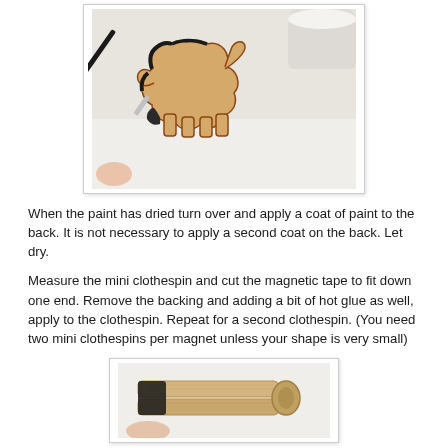[Figure (photo): A paintbrush applying black paint to the outline of a wooden dog-shaped cutout on a white surface, with a white container visible in the upper right.]
When the paint has dried turn over and apply a coat of paint to the back.  It is not necessary to apply a second coat on the back.  Let dry.
Measure the mini clothespin and cut the magnetic tape to fit down one end.  Remove the backing and adding a bit of hot glue as well, apply to the clothespin.  Repeat for a second clothespin.  (You need two mini clothespins per magnet unless your shape is very small)
[Figure (photo): A wooden mini clothespin with what appears to be magnetic tape attached, shown against a white background.]